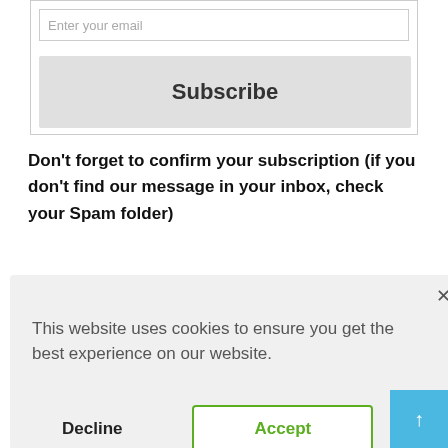[Figure (screenshot): Email input field with placeholder text 'Enter your email' and a Subscribe button below it, inside a bordered form box]
Don't forget to confirm your subscription (if you don't find our message in your inbox, check your Spam folder)
[Figure (screenshot): Row of colorful social media sharing buttons (Facebook, Twitter, LinkedIn, and others)]
[Figure (screenshot): Cookie consent banner overlay with text 'This website uses cookies to ensure you get the best experience on our website.' with Decline and Accept buttons and a close X button]